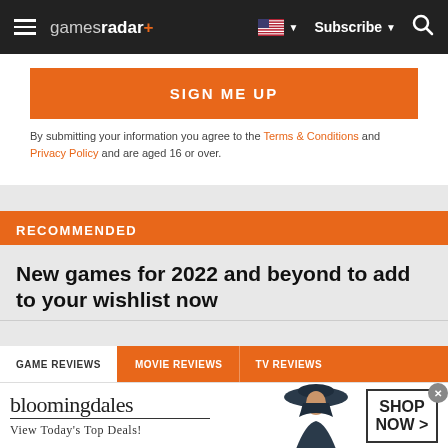gamesradar+ | Subscribe
SIGN ME UP
By submitting your information you agree to the Terms & Conditions and Privacy Policy and are aged 16 or over.
RECOMMENDED
New games for 2022 and beyond to add to your wishlist now
GAME REVIEWS | MOVIE REVIEWS | TV REVIEWS
[Figure (screenshot): Bloomingdales advertisement banner: bloomingdales logo, 'View Today's Top Deals!', woman in wide-brim hat, 'SHOP NOW >' button]